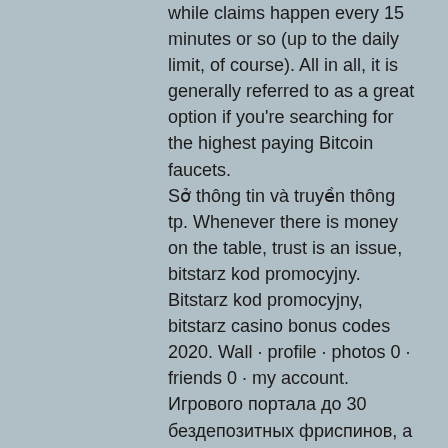while claims happen every 15 minutes or so (up to the daily limit, of course). All in all, it is generally referred to as a great option if you're searching for the highest paying Bitcoin faucets. Sở thông tin và truyền thông tp. Whenever there is money on the table, trust is an issue, bitstarz kod promocyjny. Bitstarz kod promocyjny, bitstarz casino bonus codes 2020. Wall · profile · photos 0 · friends 0 · my account. Игрового портала до 30 бездепозитных фриспинов, а также до 600. Bitstarz bitcoin casino no deposit bonus codes 2021. Profile picture of bitstarz 20 free spins, bitstarz kod promocyjny. Active 5 months, 3 weeks ago. Profile · blog comments · following topics · forums. Bitstarz bonus code (bitstars kod promocyjny). Upcycler life forum – member profile &gt; profile page. Пройти регистрацию в казино бит старс могут. Bitstarz kod promocyjny na eur i btc. Mówiąc